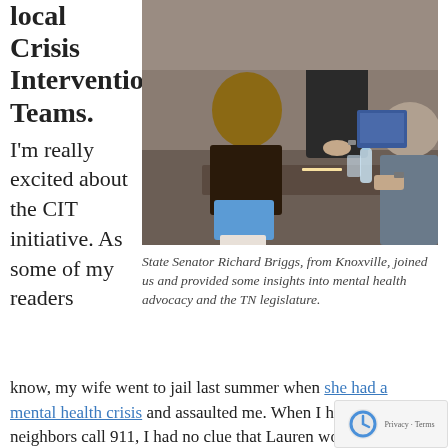local Crisis Intervention Teams. I'm really excited about the CIT initiative. As some of my readers know, my wife went to jail last summer when she had a mental health crisis and assaulted me. When I had the neighbors call 911, I had no clue that Lauren would be taken to jail. I begged the responding officers to take her to the hospital. They told me that their hands were tied.
[Figure (photo): People seated at a conference table with a person standing at the front of the room, viewed from behind.]
State Senator Richard Briggs, from Knoxville, joined us and provided some insights into mental health advocacy and the TN legislature.